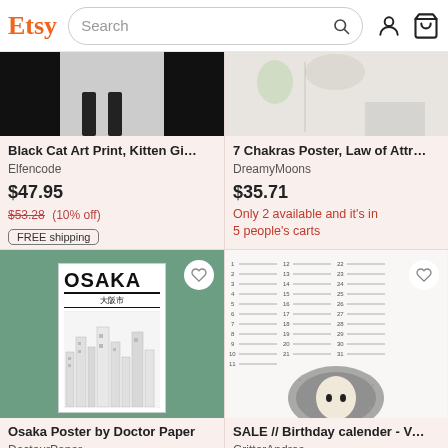Etsy — Search bar with search icon, user icon, cart icon
[Figure (photo): Black cat art print product image (cropped, top portion)]
Black Cat Art Print, Kitten Gicle...
Elfencode
$47.95
$53.28 (10% off)
FREE shipping
[Figure (photo): 7 Chakras Poster product image (cropped, top portion)]
7 Chakras Poster, Law of Attrac...
DreamyMoons
$35.71
Only 2 available and it's in 5 people's carts
[Figure (photo): Osaka Poster by Doctor Paper — detailed city illustration poster on green background]
Osaka Poster by Doctor Paper
DocteurPaper
$30.30
[Figure (photo): Birthday calendar with illustrated face — SALE item]
SALE // Birthday calender - Verj...
GritterAndrea
$15.67